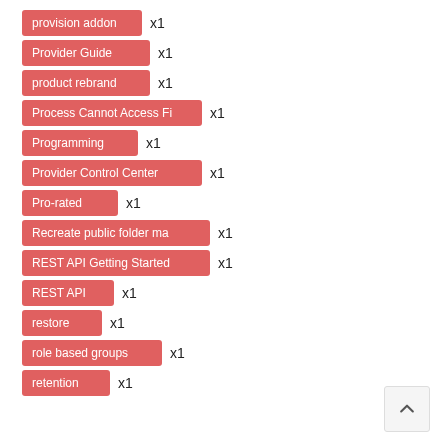provision addon x1
Provider Guide x1
product rebrand x1
Process Cannot Access Fi x1
Programming x1
Provider Control Center x1
Pro-rated x1
Recreate public folder ma x1
REST API Getting Started x1
REST API x1
restore x1
role based groups x1
retention x1